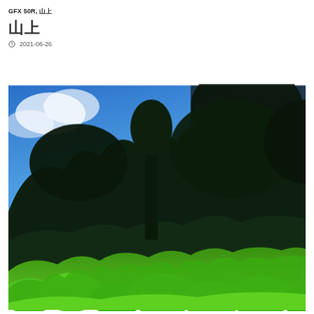GFX 50R, 山
山上
2021-06-26
[Figure (photo): Outdoor photograph of a lush green hillside forest with tall dark trees against a vivid blue sky with white clouds. Dense green vegetation fills the lower portion of the image, with large dark tree canopies silhouetted against the sky in the upper portion.]